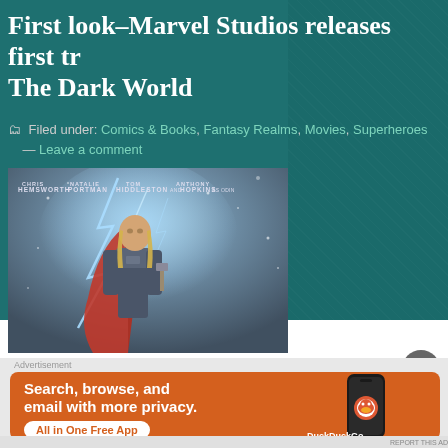First look–Marvel Studios releases first tr The Dark World
Filed under: Comics & Books, Fantasy Realms, Movies, Superheroes — Leave a comment
[Figure (photo): Thor: The Dark World movie poster showing Thor (Chris Hemsworth) with lightning, with cast names: Chris Hemsworth, Natalie Portman, Tom Hiddleston, Anthony Hopkins]
[Figure (screenshot): DuckDuckGo advertisement banner on orange background: 'Search, browse, and email with more privacy. All in One Free App' with DuckDuckGo logo and phone mockup]